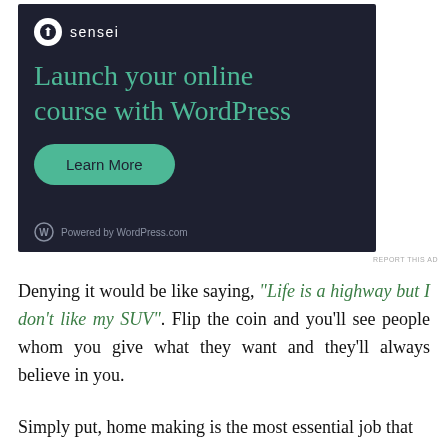[Figure (screenshot): Advertisement banner for Sensei WordPress course plugin. Dark background with Sensei logo, headline 'Launch your online course with WordPress', a green 'Learn More' button, and 'Powered by WordPress.com' footer.]
REPORT THIS AD
Denying it would be like saying, “Life is a highway but I don’t like my SUV”. Flip the coin and you’ll see people whom you give what they want and they’ll always believe in you.
Simply put, home making is the most essential job that